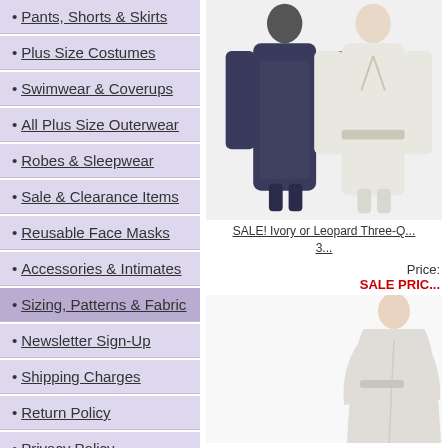• Pants, Shorts & Skirts
• Plus Size Costumes
• Swimwear & Coverups
• All Plus Size Outerwear
• Robes & Sleepwear
• Sale & Clearance Items
• Reusable Face Masks
• Accessories & Intimates
• Sizing, Patterns & Fabric
• Newsletter Sign-Up
• Shipping Charges
• Return Policy
• Privacy Policy
[Figure (photo): Two women wearing long coats — one dark/navy and one ivory/cream]
SALE! Ivory or Leopard Three-Q... 3...
Price:
SALE PRIC...
[Figure (photo): A woman wearing a long light-colored robe or duster]